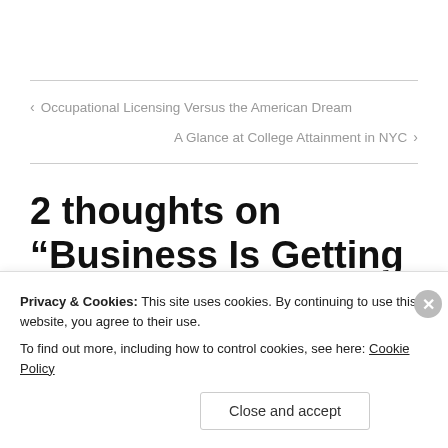< Occupational Licensing Versus the American Dream
A Glance at College Attainment in NYC >
2 thoughts on “Business Is Getting Political—and Personal”
Privacy & Cookies: This site uses cookies. By continuing to use this website, you agree to their use.
To find out more, including how to control cookies, see here: Cookie Policy
Close and accept